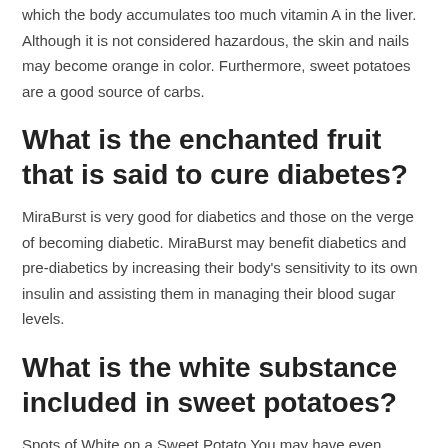which the body accumulates too much vitamin A in the liver. Although it is not considered hazardous, the skin and nails may become orange in color. Furthermore, sweet potatoes are a good source of carbs.
What is the enchanted fruit that is said to cure diabetes?
MiraBurst is very good for diabetics and those on the verge of becoming diabetic. MiraBurst may benefit diabetics and pre-diabetics by increasing their body's sensitivity to its own insulin and assisting them in managing their blood sugar levels.
What is the white substance included in sweet potatoes?
Spots of White on a Sweet Potato You may have even observed that when you cut into the sweet potato, the white liquid starch